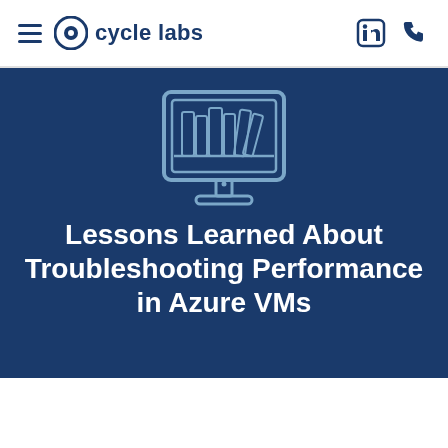cycle labs
[Figure (illustration): Monitor/computer screen icon with books displayed on it, outline style in light blue on dark blue background]
Lessons Learned About Troubleshooting Performance in Azure VMs